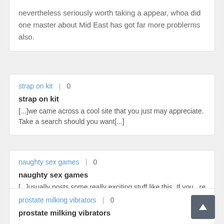nevertheless seriously worth taking a appear, whoa did one master about Mid East has got far more problerms also.
strap on kit | 0
strap on kit
[...]we came across a cool site that you just may appreciate. Take a search should you want[...]
naughty sex games | 0
naughty sex games
[...]usually posts some really exciting stuff like this. If you   re new to this site[...]
prostate milking vibrators | 0
prostate milking vibrators